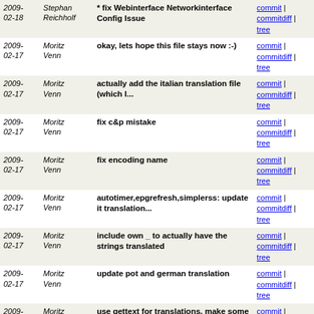| Date | Author | Message | Links |
| --- | --- | --- | --- |
| 2009-02-18 | Stephan Reichholf | * fix Webinterface Networkinterface Config Issue | commit | commitdiff | tree |
| 2009-02-17 | Moritz Venn | okay, lets hope this file stays now :-) | commit | commitdiff | tree |
| 2009-02-17 | Moritz Venn | actually add the italian translation file (which I... | commit | commitdiff | tree |
| 2009-02-17 | Moritz Venn | fix c&p mistake | commit | commitdiff | tree |
| 2009-02-17 | Moritz Venn | fix encoding name | commit | commitdiff | tree |
| 2009-02-17 | Moritz Venn | autotimer,epgrefresh,simplerss: update it translation... | commit | commitdiff | tree |
| 2009-02-17 | Moritz Venn | include own _ to actually have the strings translated | commit | commitdiff | tree |
| 2009-02-17 | Moritz Venn | update pot and german translation | commit | commitdiff | tree |
| 2009-02-17 | Moritz Venn | use gettext for translations, make some more strings... | commit | commitdiff | tree |
| 2009-02-16 | Moritz Venn | add support for custom localizations and german translation | commit | commitdiff | tree |
| 2009-02-16 | Anders Holst | Reformed channel selection, and added location and... | commit | commitdiff | tree |
| 2009-02-16 | Henning Behrend | translation and typo fixes | commit | commitdiff | tree |
| 2009-02- | Moritz | add it translation (thx spaeleus) | commit | commitdiff |